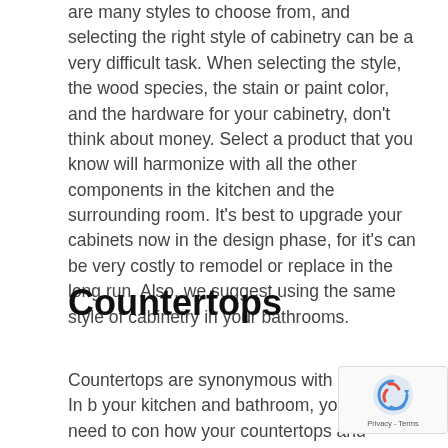are many styles to choose from, and selecting the right style of cabinetry can be a very difficult task. When selecting the style, the wood species, the stain or paint color, and the hardware for your cabinetry, don't think about money. Select a product that you know will harmonize with all the other components in the kitchen and the surrounding room. It's best to upgrade your cabinets now in the design phase, for it's can be very costly to remodel or replace in the long run. Also, we suggest using the same style of cabinetry in your bathrooms.
Countertops
Countertops are synonymous with cabinetry. In b your kitchen and bathroom, you will need to con how your countertops and cabinets work togeth